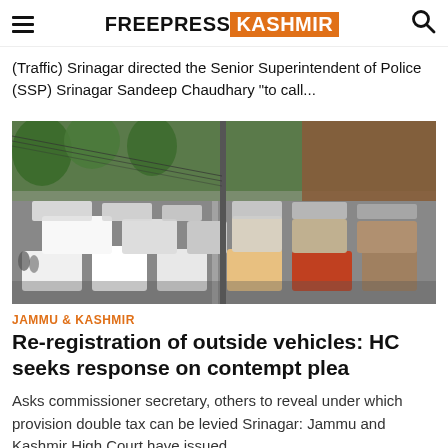FREEPRESS KASHMIR
(Traffic) Srinagar directed the Senior Superintendent of Police (SSP) Srinagar Sandeep Chaudhary "to call...
[Figure (photo): Congested traffic on a busy urban road with cars, trucks, and buses packed bumper to bumper, with trees and a highway overpass visible in the background.]
JAMMU & KASHMIR
Re-registration of outside vehicles: HC seeks response on contempt plea
Asks commissioner secretary, others to reveal under which provision double tax can be levied Srinagar: Jammu and Kashmir High Court have issued...